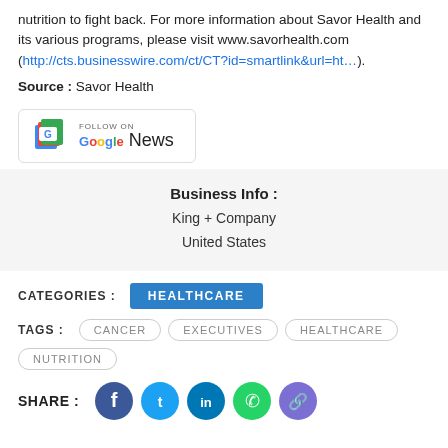nutrition to fight back. For more information about Savor Health and its various programs, please visit www.savorhealth.com (http://cts.businesswire.com/ct/CT?id=smartlink&url=ht…).
Source : Savor Health
[Figure (logo): Follow on Google News button with Google News icon]
Business Info : King + Company United States
CATEGORIES : HEALTHCARE
TAGS : CANCER EXECUTIVES HEALTHCARE NUTRITION
SHARE : (Facebook, Twitter, LinkedIn, WhatsApp, Link icons)